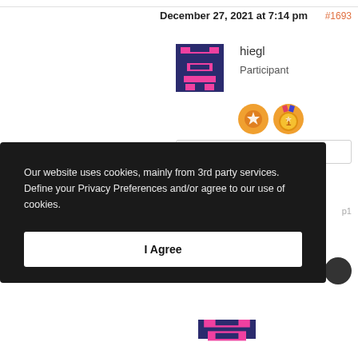December 27, 2021 at 7:14 pm
#1693
hiegl
Participant
[Figure (illustration): Pixel art avatar icon with dark navy/purple background and pink/magenta geometric shapes forming a helmet or character]
[Figure (illustration): Two orange circular badge icons with star and number 1 medal designs]
Our website uses cookies, mainly from 3rd party services. Define your Privacy Preferences and/or agree to our use of cookies.
I Agree